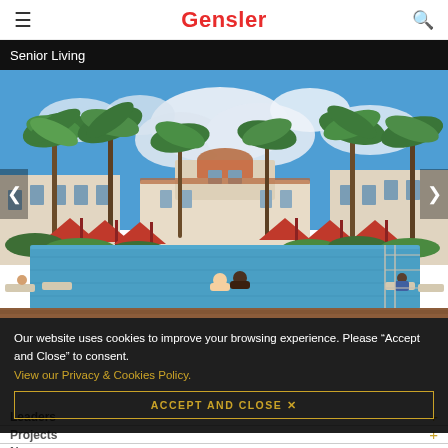Gensler
Senior Living
[Figure (photo): Luxury senior living resort-style outdoor pool area with palm trees, red umbrellas, white Spanish-Mediterranean architecture buildings, blue sky with clouds, and people in and around the pool]
Our website uses cookies to improve your browsing experience. Please “Accept and Close” to consent.
View our Privacy & Cookies Policy.
ACCEPT AND CLOSE ×
Leaders
Projects
News